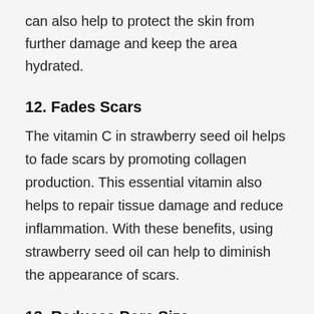can also help to protect the skin from further damage and keep the area hydrated.
12. Fades Scars
The vitamin C in strawberry seed oil helps to fade scars by promoting collagen production. This essential vitamin also helps to repair tissue damage and reduce inflammation. With these benefits, using strawberry seed oil can help to diminish the appearance of scars.
13. Reduces Pore Size
Pores can become clogged with dirt, oil, and